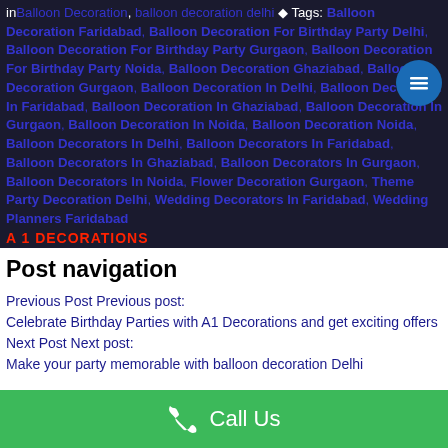inBalloon Decoration, balloon decoration delhi ◆ Tags: Balloon Decoration Faridabad, Balloon Decoration For Birthday Party Delhi, Balloon Decoration For Birthday Party Gurgaon, Balloon Decoration For Birthday Party Noida, Balloon Decoration Ghaziabad, Balloon Decoration Gurgaon, Balloon Decoration In Delhi, Balloon Decoration In Faridabad, Balloon Decoration In Ghaziabad, Balloon Decoration In Gurgaon, Balloon Decoration In Noida, Balloon Decoration Noida, Balloon Decorators In Delhi, Balloon Decorators In Faridabad, Balloon Decorators In Ghaziabad, Balloon Decorators In Gurgaon, Balloon Decorators In Noida, Flower Decoration Gurgaon, Theme Party Decoration Delhi, Wedding Decorators In Faridabad, Wedding Planners Faridabad
Post navigation
Previous Post Previous post: Celebrate Birthday Parties with A1 Decorations and get exciting offers
Next Post Next post: Make your party memorable with balloon decoration Delhi
Call Us